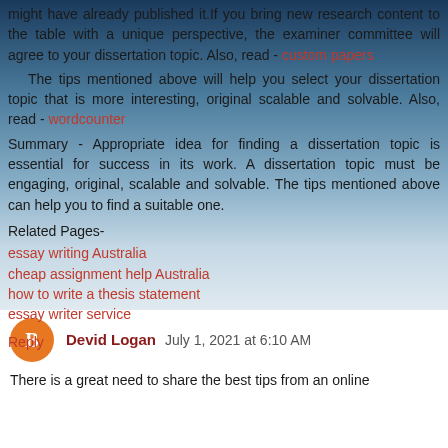might have already published it.If you bring new research content to the table with a unique perspective, the examiner committee will agree to your dissertation topic. Also, read - custom papers
The tips mentioned above will help you select your dissertation topic that is more interesting, original scalable and solvable. Also, read - wordcounter
Summary - Appropriate idea for finding a dissertation topic is essential for success in its work. A dissertation topic must be engaging, original, scalable and solvable. The tips mentioned above can help you to find a suitable one.
Related Pages-
essay writing Australia
cheap assignment help Australia
how to write a thesis statement
essay writer service
Reply
Devid Logan  July 1, 2021 at 6:10 AM
There is a great need to share the best tips from an online